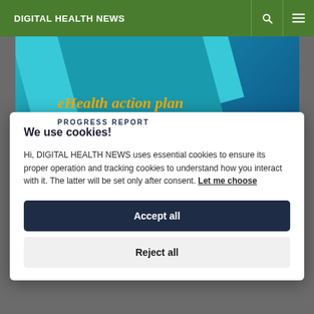DIGITAL HEALTH NEWS
[Figure (photo): Hero image showing eHealth action plan cover with diagonal teal/blue shapes and golden italic text reading 'eHealth action plan' with subtitle text below]
We use cookies!
Hi, DIGITAL HEALTH NEWS uses essential cookies to ensure its proper operation and tracking cookies to understand how you interact with it. The latter will be set only after consent. Let me choose
Accept all
Reject all